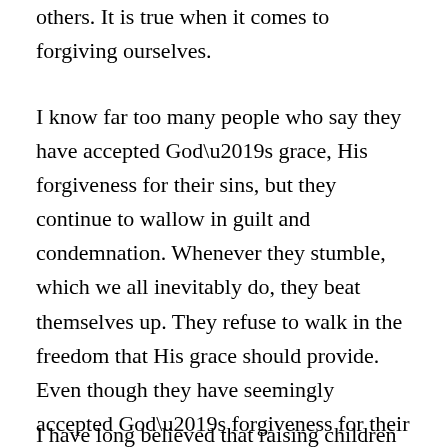others. It is true when it comes to forgiving ourselves.
I know far too many people who say they have accepted God’s grace, His forgiveness for their sins, but they continue to wallow in guilt and condemnation. Whenever they stumble, which we all inevitably do, they beat themselves up. They refuse to walk in the freedom that His grace should provide. Even though they have seemingly accepted God’s forgiveness for their sin, they cannot forgive themselves. What pride!
I have long believed that raising children means that